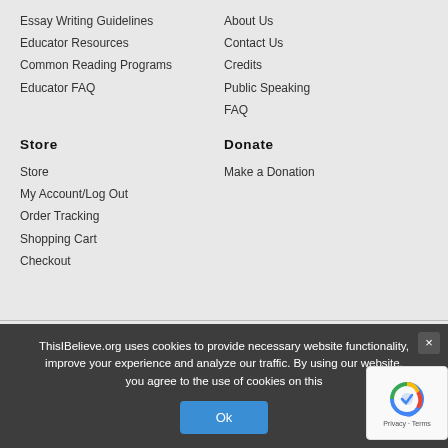Essay Writing Guidelines
Educator Resources
Common Reading Programs
Educator FAQ
About Us
Contact Us
Credits
Public Speaking
FAQ
Store
Donate
Store
My Account/Log Out
Order Tracking
Shopping Cart
Checkout
Make a Donation
© This I Believe 2005 - 2022
ThisIBelieve.org uses cookies to provide necessary website functionality, improve your experience and analyze our traffic. By using our website, you agree to the use of cookies on this
Ok